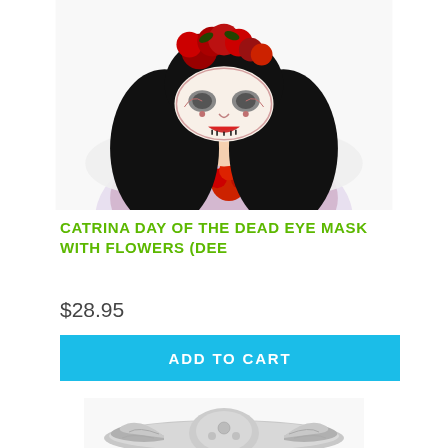[Figure (photo): Woman wearing a Day of the Dead Catrina eye mask with red roses on top of her head and long black wavy hair, dressed in a colorful costume with a red flower at chest]
CATRINA DAY OF THE DEAD EYE MASK WITH FLOWERS (DEE
$28.95
ADD TO CART
[Figure (photo): Partial view of a silver/metallic decorative item or mask at the bottom of the page]